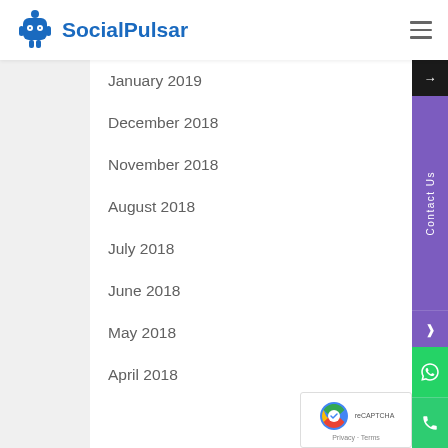SocialPulsar
January 2019
December 2018
November 2018
August 2018
July 2018
June 2018
May 2018
April 2018